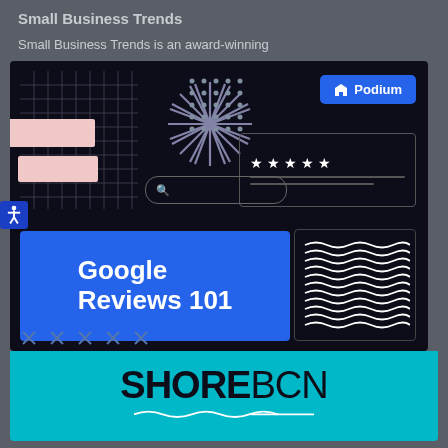Small Business Trends
Small Business Trends is an award-winning
[Figure (infographic): Dark-themed infographic with grid pattern, pink rectangles, starburst design, dot pattern, Podium badge, five-star rating box, search bar, blue Google Reviews 101 banner, wavy lines box, and x-marks row]
[Figure (logo): ShoreBCN logo on teal/cyan background with wave underline decoration]